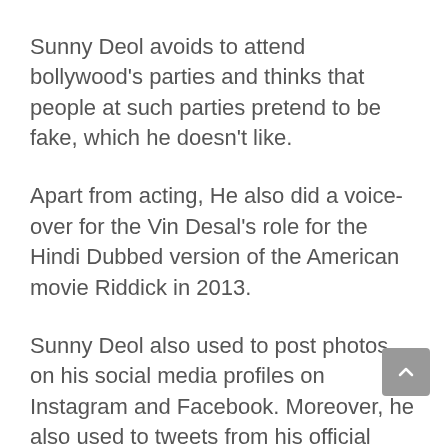Sunny Deol avoids to attend bollywood's parties and thinks that people at such parties pretend to be fake, which he doesn't like.
Apart from acting, He also did a voice-over for the Vin Desal's role for the Hindi Dubbed version of the American movie Riddick in 2013.
Sunny Deol also used to post photos on his social media profiles on Instagram and Facebook. Moreover, he also used to tweets from his official Twitter account.